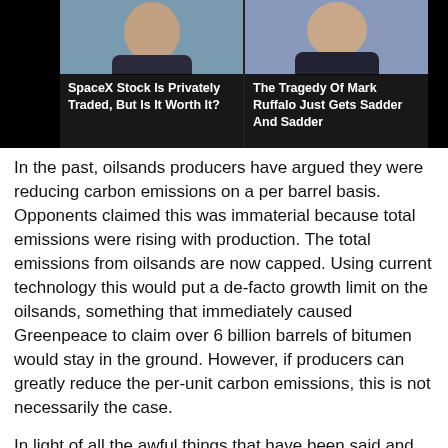[Figure (photo): Two side-by-side thumbnail photos with dark overlay captions. Left: a man with text 'SpaceX Stock Is Privately Traded, But Is It Worth It?'. Right: a man with text 'The Tragedy Of Mark Ruffalo Just Gets Sadder And Sadder'.]
In the past, oilsands producers have argued they were reducing carbon emissions on a per barrel basis. Opponents claimed this was immaterial because total emissions were rising with production. The total emissions from oilsands are now capped. Using current technology this would put a de-facto growth limit on the oilsands, something that immediately caused Greenpeace to claim over 6 billion barrels of bitumen would stay in the ground. However, if producers can greatly reduce the per-unit carbon emissions, this is not necessarily the case.
In light of all the awful things that have been said and written about the oilsands in the past five years in particular – including by representatives of the current Alberta